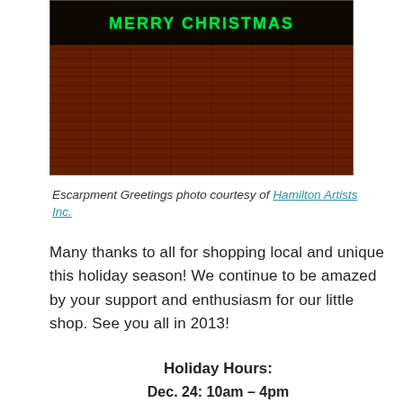[Figure (photo): Night-time photo of a wooden fence/escarpment with green LED 'MERRY CHRISTMAS' sign glowing at the top against a dark sky]
Escarpment Greetings photo courtesy of Hamilton Artists Inc.
Many thanks to all for shopping local and unique this holiday season! We continue to be amazed by your support and enthusiasm for our little shop. See you all in 2013!
Holiday Hours:
Dec. 24: 10am – 4pm